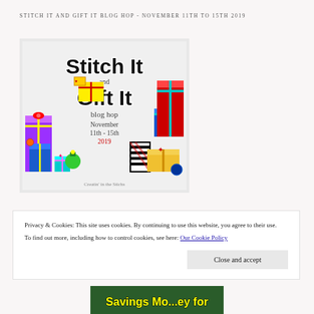STITCH IT AND GIFT IT BLOG HOP - NOVEMBER 11TH TO 15TH 2019
[Figure (illustration): Stitch It and Gift It blog hop promotional image with colorful wrapped gifts, November 11th - 15th 2019, Creatin in the Sticks]
Privacy & Cookies: This site uses cookies. By continuing to use this website, you agree to their use.
To find out more, including how to control cookies, see here: Our Cookie Policy
Close and accept
[Figure (photo): Partial image at bottom showing Savings Mo...ey for text]